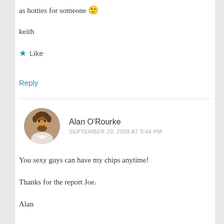as hotties for someone 😊
keith
★ Like
Reply
Alan O'Rourke
SEPTEMBER 20, 2009 AT 9:44 PM
You sexy guys can have my chips anytime!
Thanks for the report Joe.
Alan